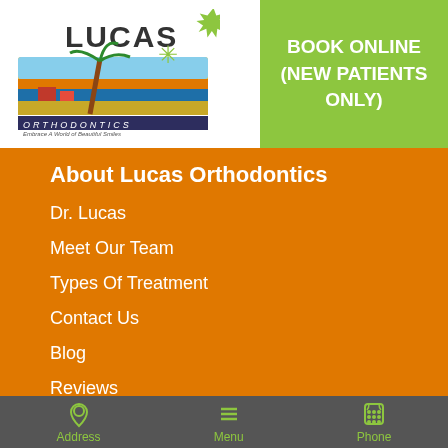[Figure (logo): Lucas Orthodontics logo with colorful palm tree design and text 'Embrace A World of Beautiful Smiles']
BOOK ONLINE
(NEW PATIENTS ONLY)
About Lucas Orthodontics
Dr. Lucas
Meet Our Team
Types Of Treatment
Contact Us
Blog
Reviews
Address   Menu   Phone